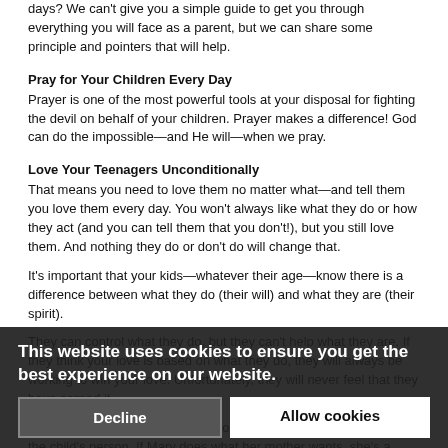days? We can't give you a simple guide to get you through everything you will face as a parent, but we can share some principle and pointers that will help.
Pray for Your Children Every Day
Prayer is one of the most powerful tools at your disposal for fighting the devil on behalf of your children. Prayer makes a difference! God can do the impossible—and He will—when we pray.
Love Your Teenagers Unconditionally
That means you need to love them no matter what—and tell them you love them every day. You won't always like what they do or how they act (and you can tell them that you don't!), but you still love them. And nothing they do or don't do will change that.
It's important that your kids—whatever their age—know there is a difference between what they do (their will) and what they are (their spirit).
They can control what they do, but they can't help what they are. If they think your love is based on what they do, they will always be working to win your love. Unfortunately, they will never feel that they have earned it.
Many parents make the mistake comparing a child's conduct with the child's person. If Mary does what her mother wants, she's a "good girl," and Mother loves her. But if she disobeys, she's a "bad girl," and no one loves a bad person.
...kes all the ...—is perfect. Mary feels like a failure. She feels unlovable and bad.
One women who grew up with this kind of thinking explained it this way:
"I always felt that somewhere there was a line, and if I ever stepped over that line, that
This website uses cookies to ensure you get the best experience on our website.